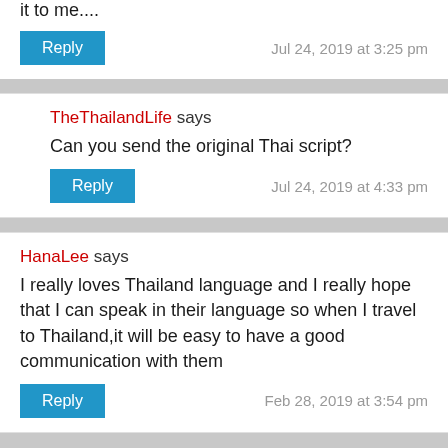it to me....
Reply
Jul 24, 2019 at 3:25 pm
TheThailandLife says
Can you send the original Thai script?
Reply
Jul 24, 2019 at 4:33 pm
HanaLee says
I really loves Thailand language and I really hope that I can speak in their language so when I travel to Thailand,it will be easy to have a good communication with them
Reply
Feb 28, 2019 at 3:54 pm